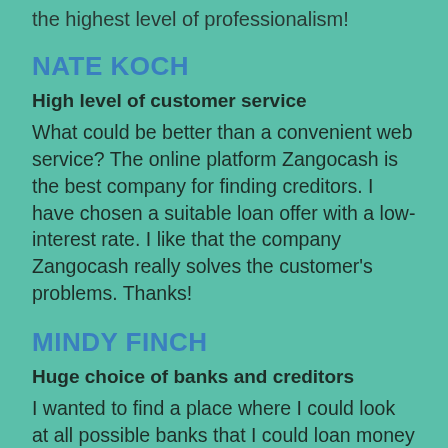the highest level of professionalism!
NATE KOCH
High level of customer service
What could be better than a convenient web service? The online platform Zangocash is the best company for finding creditors. I have chosen a suitable loan offer with a low-interest rate. I like that the company Zangocash really solves the customer's problems. Thanks!
MINDY FINCH
Huge choice of banks and creditors
I wanted to find a place where I could look at all possible banks that I could loan money from. Zangocash offered the best creditors quickly and explained every step of the process. Everything was so easy for me, and I didn't even know loaning money could be this comfortable. I use the services of the company regularly, and I couldn't be happier.